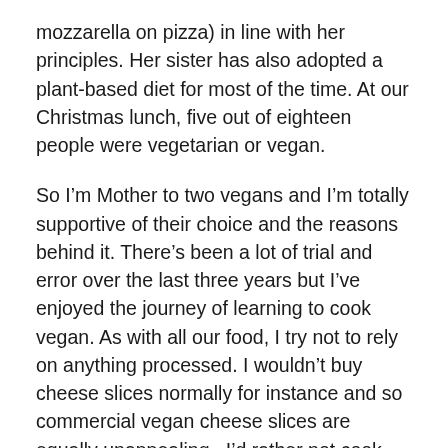mozzarella on pizza) in line with her principles. Her sister has also adopted a plant-based diet for most of the time. At our Christmas lunch, five out of eighteen people were vegetarian or vegan.
So I'm Mother to two vegans and I'm totally supportive of their choice and the reasons behind it. There's been a lot of trial and error over the last three years but I've enjoyed the journey of learning to cook vegan. As with all our food, I try not to rely on anything processed. I wouldn't buy cheese slices normally for instance and so commercial vegan cheese slices are equally unappealing.  I'd rather not cook twice so am always on the hunt for delicious, healthy recipes that appeal to everyone.
These light, fluffy scones are equally good with a layer of jam (for vegans) or a smear of butter (for the nons).  They